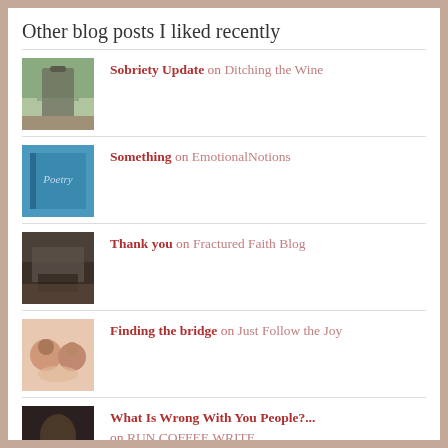Other blog posts I liked recently
Sobriety Update on Ditching the Wine
Something on EmotionalNotions
Thank you on Fractured Faith Blog
Finding the bridge on Just Follow the Joy
What Is Wrong With You People?... on RUN COFFEE WRITE
4 ways to get your creative ju... on Kendra Tanner